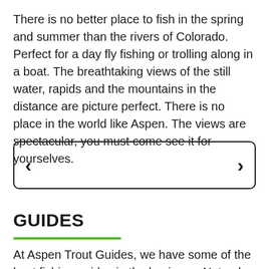There is no better place to fish in the spring and summer than the rivers of Colorado. Perfect for a day fly fishing or trolling along in a boat. The breathtaking views of the still water, rapids and the mountains in the distance are picture perfect. There is no place in the world like Aspen. The views are spectacular, you must come see it for yourselves.
[Figure (other): Navigation control box with left chevron arrow on left side and right chevron arrow on right side, inside a rounded rectangle border]
GUIDES
At Aspen Trout Guides, we have some of the best fishing guides in the business. Not only do they know the best